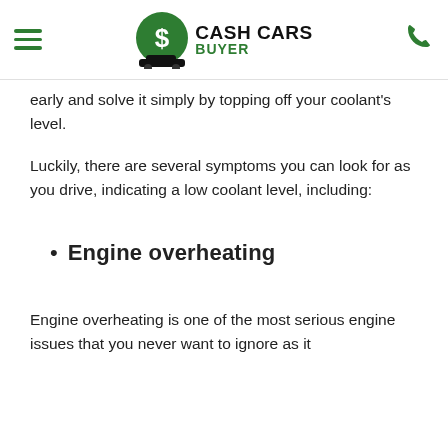Cash Cars Buyer
early and solve it simply by topping off your coolant's level.
Luckily, there are several symptoms you can look for as you drive, indicating a low coolant level, including:
Engine overheating
Engine overheating is one of the most serious engine issues that you never want to ignore as it